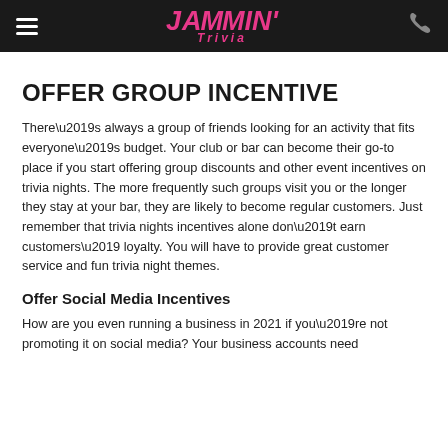Jammin' Trivia
OFFER GROUP INCENTIVE
There’s always a group of friends looking for an activity that fits everyone’s budget. Your club or bar can become their go-to place if you start offering group discounts and other event incentives on trivia nights. The more frequently such groups visit you or the longer they stay at your bar, they are likely to become regular customers. Just remember that trivia nights incentives alone don’t earn customers’ loyalty. You will have to provide great customer service and fun trivia night themes.
Offer Social Media Incentives
How are you even running a business in 2021 if you’re not promoting it on social media? Your business accounts need